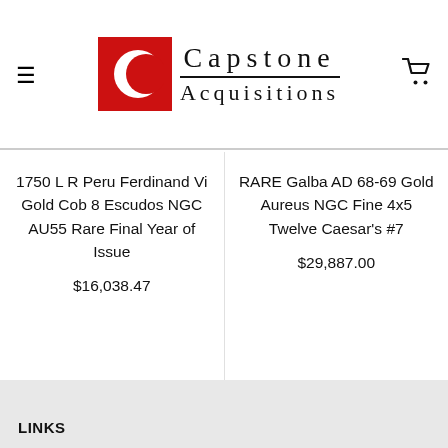[Figure (logo): Capstone Acquisitions logo with red square containing white C crescent, text 'Capstone Acquisitions' in serif font, hamburger menu icon on left, shopping cart icon on right]
1750 L R Peru Ferdinand Vi Gold Cob 8 Escudos NGC AU55 Rare Final Year of Issue
$16,038.47
RARE Galba AD 68-69 Gold Aureus NGC Fine 4x5 Twelve Caesar's #7
$29,887.00
LINKS